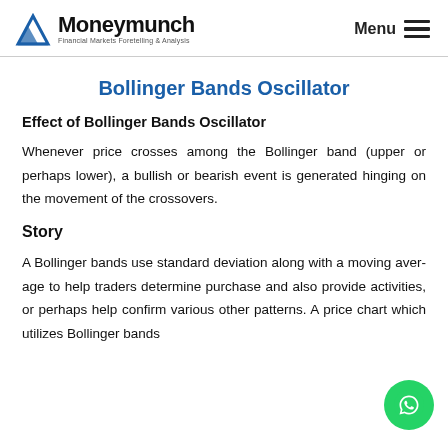Moneymunch — Financial Markets Foretelling & Analysis | Menu
Bollinger Bands Oscillator
Effect of Bollinger Bands Oscillator
Whenever price crosses among the Bollinger band (upper or perhaps lower), a bullish or bearish event is generated hinging on the movement of the crossovers.
Story
A Bollinger bands use standard deviation along with a moving average to help traders determine purchase and also provide activities, or perhaps help confirm various other patterns. A price chart which utilizes Bollinger bands